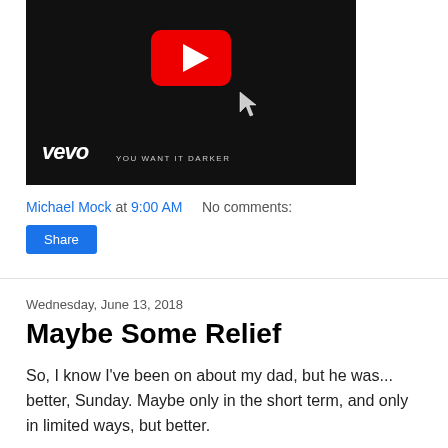[Figure (screenshot): YouTube/Vevo video thumbnail showing a black background with red YouTube play button icon and vevo logo with text 'YOU WANT IT DARKER']
Michael Mock at 9:00 AM    No comments:
Share
Wednesday, June 13, 2018
Maybe Some Relief
So, I know I've been on about my dad, but he was... better, Sunday. Maybe only in the short term, and only in limited ways, but better.
But Secondborn has an inguinal hernia, possibly congenital, and the damned thing... it's there, but it hides when we try to have doctors look at it. I mean, the pediatrician could identify it. The ER staff couldn't find it at all by the time they finally